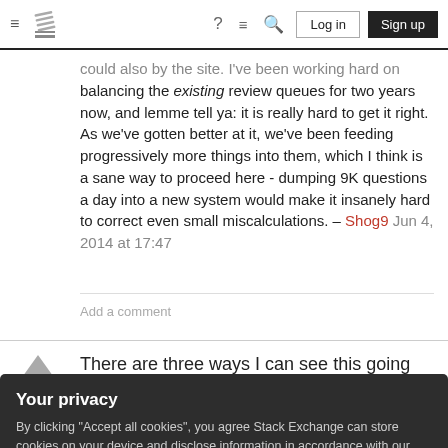≡ [Stack Overflow logo] ? ≡ 🔍 Log in Sign up
could also by the site. I've been working hard on balancing the existing review queues for two years now, and lemme tell ya: it is really hard to get it right. As we've gotten better at it, we've been feeding progressively more things into them, which I think is a sane way to proceed here - dumping 9K questions a day into a new system would make it insanely hard to correct even small miscalculations. – Shog9 Jun 4, 2014 at 17:47
Add a comment
There are three ways I can see this going horribly
Your privacy
By clicking "Accept all cookies", you agree Stack Exchange can store cookies on your device and disclose information in accordance with our Cookie Policy.
Accept all cookies
Customize settings
3  Diluting the signal to prevent new users and the